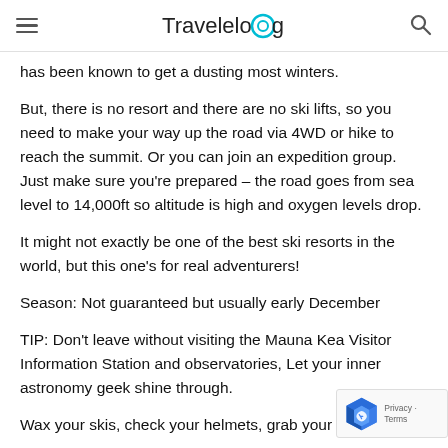Travelog
has been known to get a dusting most winters.
But, there is no resort and there are no ski lifts, so you need to make your way up the road via 4WD or hike to reach the summit. Or you can join an expedition group. Just make sure you're prepared – the road goes from sea level to 14,000ft so altitude is high and oxygen levels drop.
It might not exactly be one of the best ski resorts in the world, but this one's for real adventurers!
Season: Not guaranteed but usually early December
TIP: Don't leave without visiting the Mauna Kea Visitor Information Station and observatories, Let your inner astronomy geek shine through.
Wax your skis, check your helmets, grab your thermals, and snow fix. Find a cheap flight to your chosen resort.